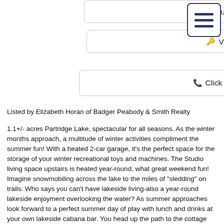[Figure (other): Inquire button with envelope icon]
[Figure (other): Visit button with key icon]
[Figure (other): Hamburger menu icon button]
[Figure (other): Click to Call button with phone icon]
Listed by Elizabeth Horan of Badger Peabody & Smith Realty
1.1+/- acres Partridge Lake, spectacular for all seasons. As the winter months approach, a multitude of winter activities compliment the summer fun! With a heated 2-car garage, it's the perfect space for the storage of your winter recreational toys and machines. The Studio living space upstairs is heated year-round, what great weekend fun! Imagine snowmobiling across the lake to the miles of "sledding" on trails. Who says you can't have lakeside living-also a year-round lakeside enjoyment overlooking the water? As summer approaches look forward to a perfect summer day of play with lunch and drinks at your own lakeside cabana bar. You head up the path to the cottage passing by a tree deck perched high in the trees, a great